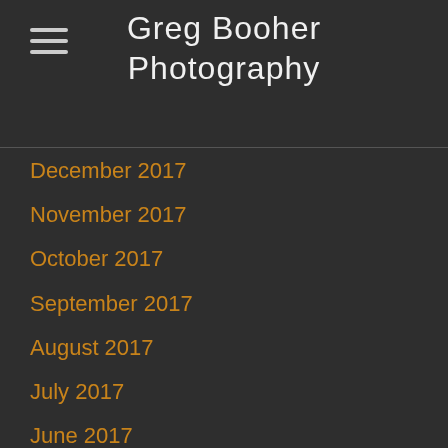Greg Booher Photography
December 2017
November 2017
October 2017
September 2017
August 2017
July 2017
June 2017
May 2017
April 2017
March 2017
February 2017
January 2017
December 2016
November 2016
October 2016
September 2016
August 2016